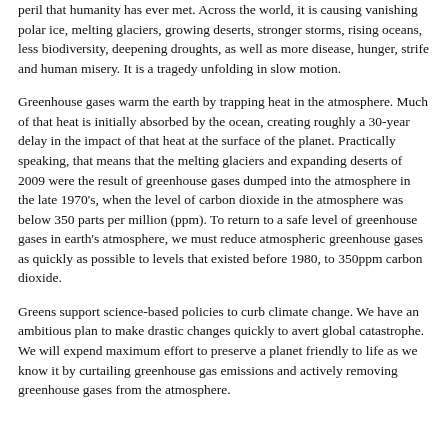peril that humanity has ever met. Across the world, it is causing vanishing polar ice, melting glaciers, growing deserts, stronger storms, rising oceans, less biodiversity, deepening droughts, as well as more disease, hunger, strife and human misery. It is a tragedy unfolding in slow motion.
Greenhouse gases warm the earth by trapping heat in the atmosphere. Much of that heat is initially absorbed by the ocean, creating roughly a 30-year delay in the impact of that heat at the surface of the planet. Practically speaking, that means that the melting glaciers and expanding deserts of 2009 were the result of greenhouse gases dumped into the atmosphere in the late 1970's, when the level of carbon dioxide in the atmosphere was below 350 parts per million (ppm). To return to a safe level of greenhouse gases in earth's atmosphere, we must reduce atmospheric greenhouse gases as quickly as possible to levels that existed before 1980, to 350ppm carbon dioxide.
Greens support science-based policies to curb climate change. We have an ambitious plan to make drastic changes quickly to avert global catastrophe. We will expend maximum effort to preserve a planet friendly to life as we know it by curtailing greenhouse gas emissions and actively removing greenhouse gases from the atmosphere.